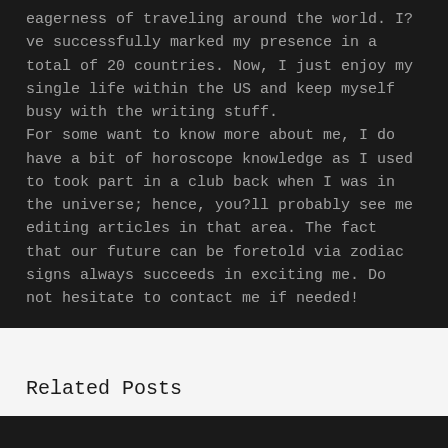eagerness of traveling around the world. I?ve successfully marked my presence in a total of 20 countries. Now, I just enjoy my single life within the US and keep myself busy with the writing stuff.
For some want to know more about me, I do have a bit of horoscope knowledge as I used to took part in a club back when I was in the universe; hence, you?ll probably see me editing articles in that area. The fact that our future can be foretold via zodiac signs always succeeds in exciting me. Do not hesitate to contact me if needed!
Related Posts